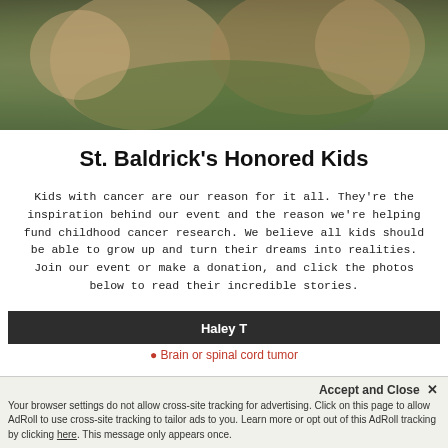[Figure (photo): Banner photo showing people in green St. Baldrick's t-shirts hugging and smiling at an event]
St. Baldrick's Honored Kids
Kids with cancer are our reason for it all. They're the inspiration behind our event and the reason we're helping fund childhood cancer research. We believe all kids should be able to grow up and turn their dreams into realities. Join our event or make a donation, and click the photos below to read their incredible stories.
Haley T
• Brain or spinal cord tumor
Accept and Close ✕ Your browser settings do not allow cross-site tracking for advertising. Click on this page to allow AdRoll to use cross-site tracking to tailor ads to you. Learn more or opt out of this AdRoll tracking by clicking here. This message only appears once.